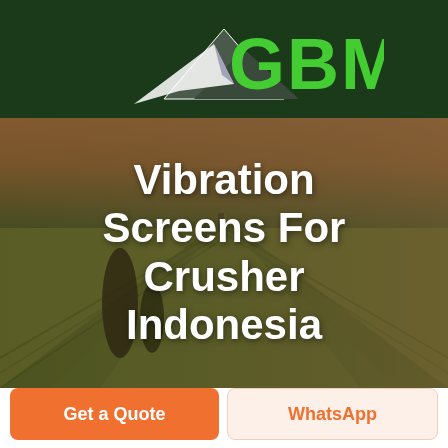[Figure (logo): GBM logo with mountain/arrow icon and green GBM text on dark green background]
[Figure (screenshot): Green navigation bar with hamburger menu icon and live chat bubble button]
[Figure (photo): Aerial landscape photo with rolling fields in warm golden-green light, with white bold text overlay reading 'Vibration Screens For Crusher Indonesia']
Vibration Screens For Crusher Indonesia
Get a Quote
WhatsApp